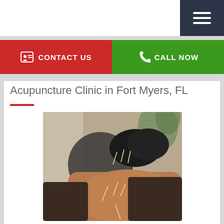Navigation bar with hamburger menu
CONTACT US
CALL NOW
Acupuncture Clinic in Fort Myers, FL
[Figure (photo): Person lying face down receiving acupuncture treatment on their back, with multiple thin needles inserted. A dark exercise ball and plant are visible in the blurred background.]